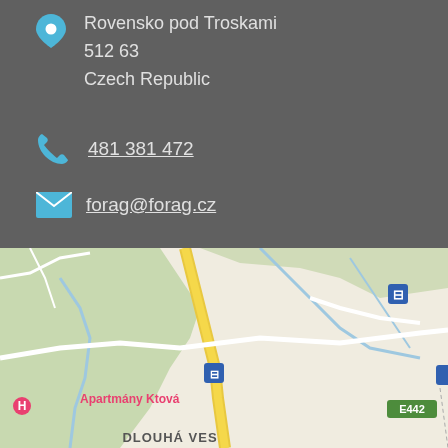Rovensko pod Troskami
512 63
Czech Republic
481 381 472
forag@forag.cz
[Figure (map): Google Maps showing area around Rovensko pod Troskami, Czech Republic. Road 282 and E442 are visible, along with Dlouhá Ves label, Apartmány Ktová marker, and bus stop icons. Yellow road curves through green terrain with a river.]